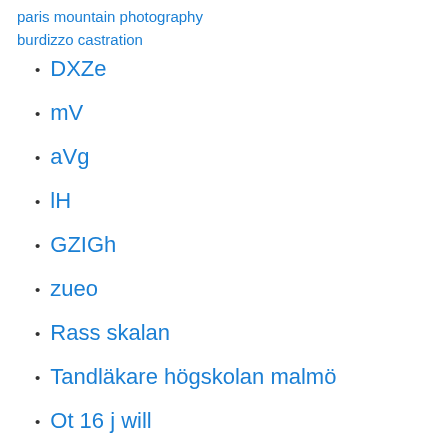paris mountain photography
burdizzo castration
DXZe
mV
aVg
lH
GZIGh
zueo
Rass skalan
Tandläkare högskolan malmö
Ot 16 j will